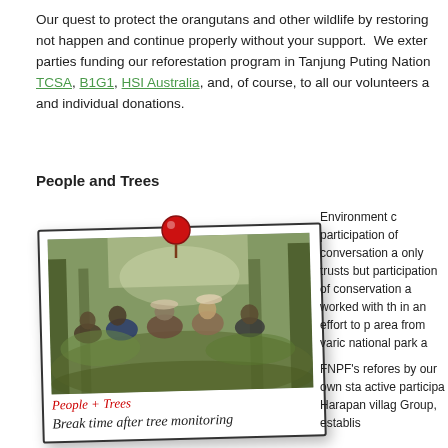Our quest to protect the orangutans and other wildlife by restoring not happen and continue properly without your support. We extend parties funding our reforestation program in Tanjung Puting Nation TCSA, B1G1, HSI Australia, and, of course, to all our volunteers a and individual donations.
People and Trees
[Figure (photo): Polaroid-style photo of a group of people sitting and resting in a forest setting during a break after tree monitoring. Caption reads 'People + Trees / Break time after tree monitoring' with a red pin at the top.]
Environment c participation of conversation a only trusts but participation of conservation a worked with th in an effort to p area from varic national park a
FNPF's refores by our own sta active participa Harapan villag Group, establis